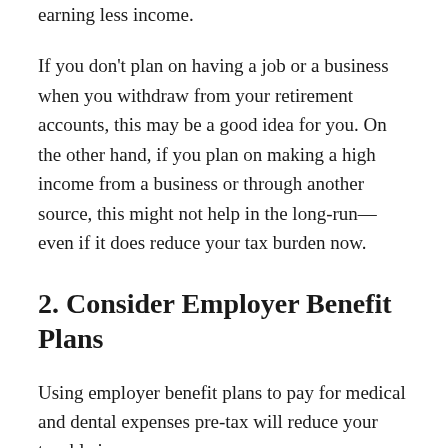earning less income.
If you don't plan on having a job or a business when you withdraw from your retirement accounts, this may be a good idea for you. On the other hand, if you plan on making a high income from a business or through another source, this might not help in the long-run—even if it does reduce your tax burden now.
2. Consider Employer Benefit Plans
Using employer benefit plans to pay for medical and dental expenses pre-tax will reduce your taxable income.